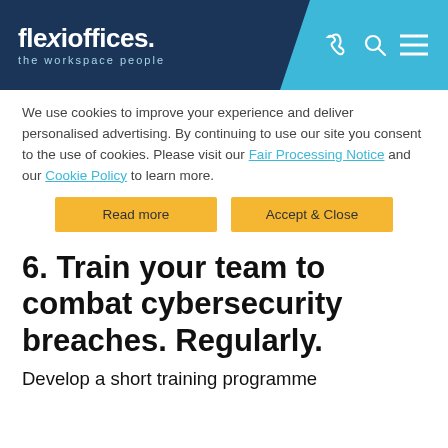[Figure (logo): Flexi Offices logo with tagline 'the workspace people' on dark navy background, with phone, search, and menu icons on blue background]
We use cookies to improve your experience and deliver personalised advertising. By continuing to use our site you consent to the use of cookies. Please visit our Fair Processing Notice and our Cookie Policy to learn more.
Read more
Accept & Close
6. Train your team to combat cybersecurity breaches. Regularly.
Develop a short training programme